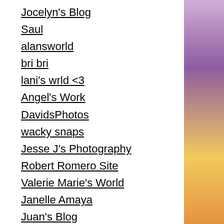Jocelyn's Blog
Saul
alansworld
bri bri
lani's wrld <3
Angel's Work
DavidsPhotos
wacky snaps
Jesse J's Photography
Robert Romero Site
Valerie Marie's World
Janelle Amaya
Juan's Blog
Perry the photographer
The Trooper
A lost soul
Rishay's Photos